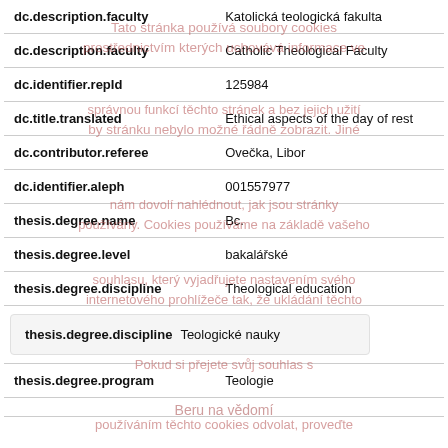| Field | Value |
| --- | --- |
| dc.description.faculty | Katolická teologická fakulta |
| dc.description.faculty | Catholic Theological Faculty |
| dc.identifier.repId | 125984 |
| dc.title.translated | Ethical aspects of the day of rest |
| dc.contributor.referee | Ovečka, Libor |
| dc.identifier.aleph | 001557977 |
| thesis.degree.name | Bc. |
| thesis.degree.level | bakalářské |
| thesis.degree.discipline | Theological education |
| thesis.degree.discipline | Teologické nauky |
| thesis.degree.program | Teologie |
Tato stránka používá soubory cookies prostřednictvím kterých uchovává informace ve správnou funkcí těchto stránek a bez jejich užití by stránku nebylo možné řádně zobrazit. Jiné nám dovolí nahlédnout, jak jsou stránky používány. Cookies používáme na základě vašeho souhlasu, který vyjadřujete nastavením svého internetového prohlížeče tak, že ukládání těchto cookie souborů povolujete. Pokud si přejete svůj souhlas s používáním těchto cookies odvolat, proveďte prosím příslušné nastavení vašeho internetového prohlížeče.
Beru na vědomí